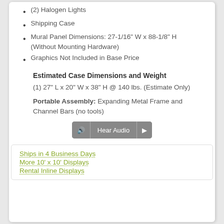(2) Halogen Lights
Shipping Case
Mural Panel Dimensions: 27-1/16" W x 88-1/8" H (Without Mounting Hardware)
Graphics Not Included in Base Price
Estimated Case Dimensions and Weight
(1) 27" L x 20" W x 38" H @ 140 lbs. (Estimate Only)
Portable Assembly: Expanding Metal Frame and Channel Bars (no tools)
[Figure (other): Audio player button with speaker icon, 'Hear Audio' label, and forward arrow]
Ships in 4 Business Days
More 10' x 10' Displays
Rental Inline Displays